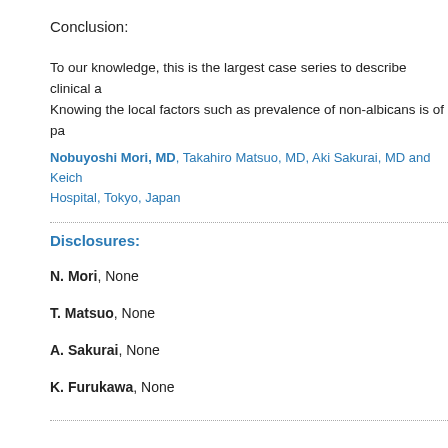Conclusion:
To our knowledge, this is the largest case series to describe clinical a... Knowing the local factors such as prevalence of non-albicans is of pa...
Nobuyoshi Mori, MD, Takahiro Matsuo, MD, Aki Sakurai, MD and Keich... Hospital, Tokyo, Japan
Disclosures:
N. Mori, None
T. Matsuo, None
A. Sakurai, None
K. Furukawa, None
See more of: Mycology - There's a... See more of: Post...
<< Previous Abstra...